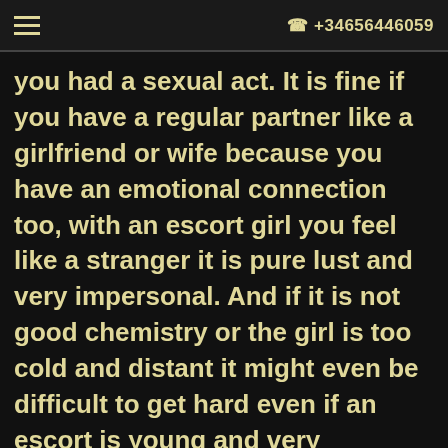≡  ☎ +34656446059
you had a sexual act. It is fine if you have a regular partner like a girlfriend or wife because you have an emotional connection too, with an escort girl you feel like a stranger it is pure lust and very impersonal. And if it is not good chemistry or the girl is too cold and distant it might even be difficult to get hard even if an escort is young and very attractive.